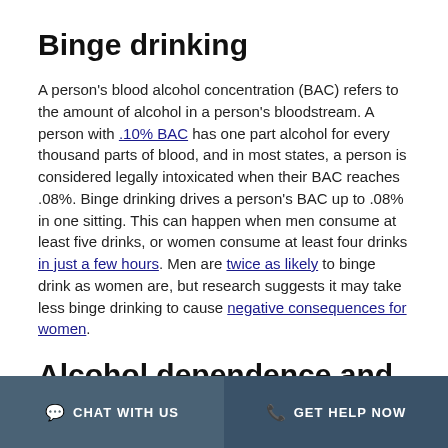Binge drinking
A person's blood alcohol concentration (BAC) refers to the amount of alcohol in a person's bloodstream. A person with .10% BAC has one part alcohol for every thousand parts of blood, and in most states, a person is considered legally intoxicated when their BAC reaches .08%. Binge drinking drives a person's BAC up to .08% in one sitting. This can happen when men consume at least five drinks, or women consume at least four drinks in just a few hours. Men are twice as likely to binge drink as women are, but research suggests it may take less binge drinking to cause negative consequences for women.
Alcohol dependence and abuse
CHAT WITH US   GET HELP NOW